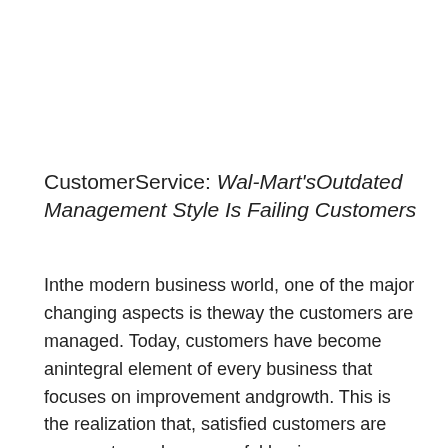CustomerService: Wal-Mart'sOutdated Management Style Is Failing Customers
Inthe modern business world, one of the major changing aspects is theway the customers are managed. Today, customers have become anintegral element of every business that focuses on improvement andgrowth. This is the realization that, satisfied customers are one waytowards successful business performance as well as management. Thishas, in turn, led to customer oriented management